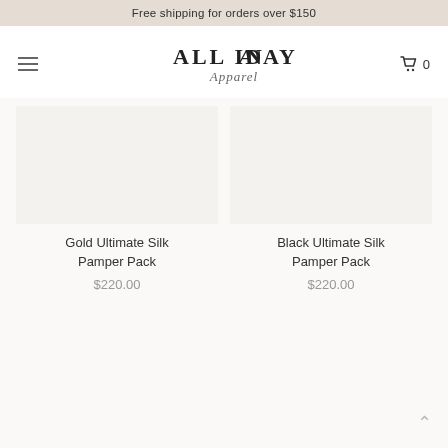Free shipping for orders over $150
[Figure (logo): ALL IN A DAY Apparel logo with serif uppercase text and italic script]
Gold Ultimate Silk Pamper Pack $220.00
Black Ultimate Silk Pamper Pack $220.00